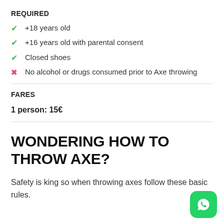REQUIRED
+18 years old
+16 years old with parental consent
Closed shoes
No alcohol or drugs consumed prior to Axe throwing
FARES
1 person: 15€
WONDERING HOW TO THROW AXE?
Safety is king so when throwing axes follow these basic rules.